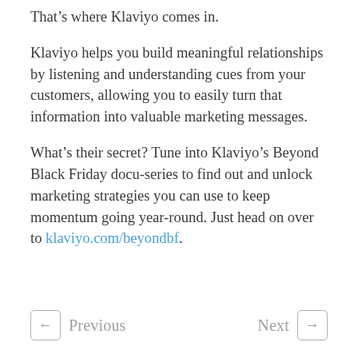That’s where Klaviyo comes in.
Klaviyo helps you build meaningful relationships by listening and understanding cues from your customers, allowing you to easily turn that information into valuable marketing messages.
What’s their secret? Tune into Klaviyo’s Beyond Black Friday docu-series to find out and unlock marketing strategies you can use to keep momentum going year-round. Just head on over to klaviyo.com/beyondbf.
Previous   Next